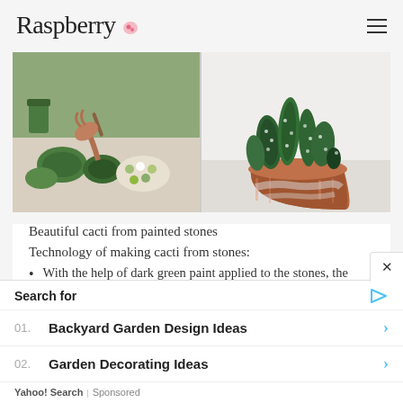Raspberry
[Figure (photo): Two-panel photo: left shows a hand painting stones green to look like cacti with paint supplies around; right shows finished painted stone cacti in a terracotta pot.]
Beautiful cacti from painted stones
Technology of making cacti from stones:
With the help of dark green paint applied to the stones, the base of the cactus is created,
Search for
01. Backyard Garden Design Ideas
02. Garden Decorating Ideas
Yahoo! Search | Sponsored